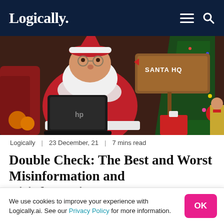Logically.
[Figure (photo): Santa Claus sitting in a red armchair using a black HP laptop, with a wooden 'Santa HQ' sign and Christmas tree with lights and ornaments in the background.]
Logically  |  23 December, 21  |  7 mins read
Double Check: The Best and Worst Misinformation and Disinformation Ev...
We use cookies to improve your experience with Logically.ai. See our Privacy Policy for more information.